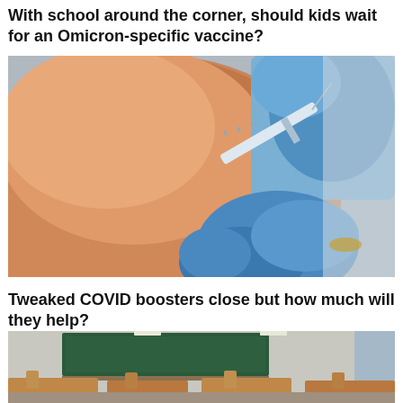With school around the corner, should kids wait for an Omicron-specific vaccine?
[Figure (photo): Close-up photo of a person's upper arm receiving a vaccine injection from a healthcare worker wearing blue latex gloves, holding a syringe.]
Tweaked COVID boosters close but how much will they help?
[Figure (photo): Photo of an empty classroom with wooden desks and chairs, and a green chalkboard visible in the background.]